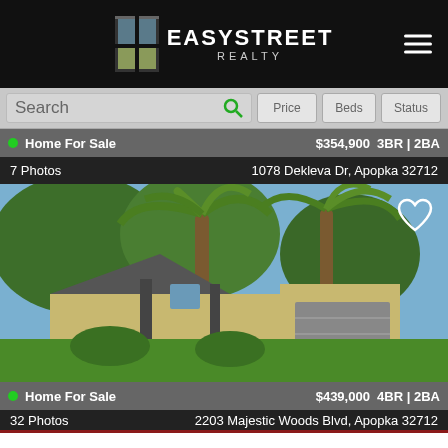EasyStreet Realty
Search | Price | Beds | Status
Home For Sale  $354,900  3BR | 2BA
7 Photos  1078 Dekleva Dr, Apopka 32712
[Figure (photo): Exterior photo of a single-family home with palm trees in front, yellow stucco exterior, gray garage door, and green lawn]
Home For Sale  $439,000  4BR | 2BA
32 Photos  2203 Majestic Woods Blvd, Apopka 32712
Call to Schedule a Showing
(407) 278-2057